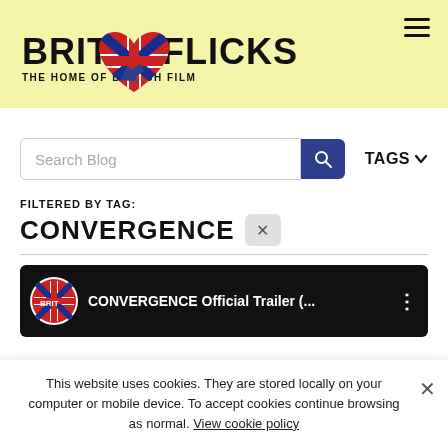BRITFLICKS — THE HOME OF BRITISH FILM
Search Blog
TAGS
FILTERED BY TAG:
CONVERGENCE
[Figure (screenshot): YouTube-style video thumbnail with dark background showing BRITFLICKS logo and title 'CONVERGENCE Official Trailer (...)' with three-dot menu icon]
This website uses cookies. They are stored locally on your computer or mobile device. To accept cookies continue browsing as normal. View cookie policy